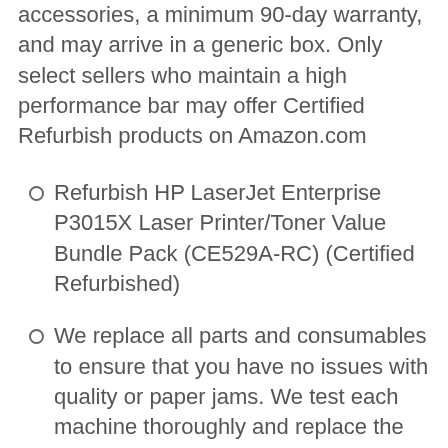accessories, a minimum 90-day warranty, and may arrive in a generic box. Only select sellers who maintain a high performance bar may offer Certified Refurbish products on Amazon.com
Refurbish HP LaserJet Enterprise P3015X Laser Printer/Toner Value Bundle Pack (CE529A-RC) (Certified Refurbished)
We replace all parts and consumables to ensure that you have no issues with quality or paper jams. We test each machine thoroughly and replace the consumables that are in need of replacement such as pickup rollers, separation roller, mp pickup roller, separation pads, transfer roller, fuser film, pressure